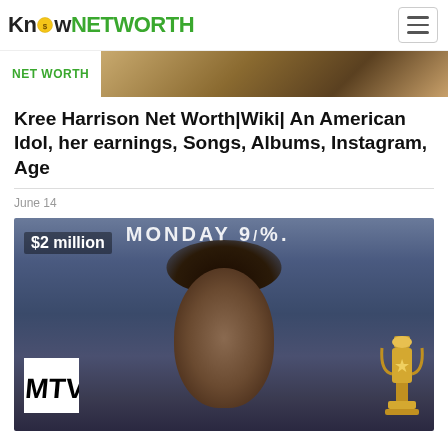Know NETWORTH
NET WORTH
Kree Harrison Net Worth|Wiki| An American Idol, her earnings, Songs, Albums, Instagram, Age
June 14
[Figure (photo): Photo of a person at what appears to be an MTV event, with MTV logo and trophy visible. Text overlay reads '$2 million' and 'MONDAY 9/.' visible in background.]